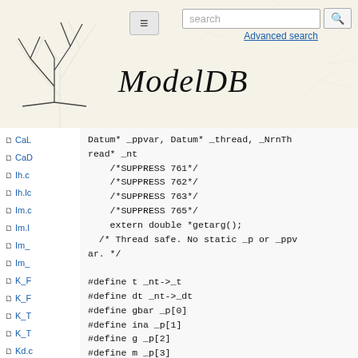ModelDB — search interface with navigation
CaL
CaD
Ih.c
Ih.lc
Im.c
Im.l
Im_
Im_
K_F
K_F
K_T
K_T
Kd.c
Kd.l
Kv2
Datum* _ppvar, Datum* _thread, _NrnThread* _nt
    /*SUPPRESS 761*/
    /*SUPPRESS 762*/
    /*SUPPRESS 763*/
    /*SUPPRESS 765*/
    extern double *getarg();
  /* Thread safe. No static _p or _ppvar. */

#define t _nt->_t
#define dt _nt->_dt
#define gbar _p[0]
#define ina _p[1]
#define g _p[2]
#define m _p[3]
#define h _p[4]
#define ena _p[5]
#define mInf _p[6]
#define mTau _p[7]